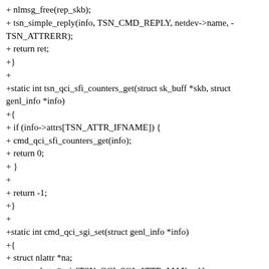+ nlmsg_free(rep_skb);
+ tsn_simple_reply(info, TSN_CMD_REPLY, netdev->name, -TSN_ATTRERR);
+ return ret;
+}
+
+static int tsn_qci_sfi_counters_get(struct sk_buff *skb, struct genl_info *info)
+{
+ if (info->attrs[TSN_ATTR_IFNAME]) {
+ cmd_qci_sfi_counters_get(info);
+ return 0;
+ }
+
+ return -1;
+}
+
+static int cmd_qci_sgi_set(struct genl_info *info)
+{
+ struct nlattr *na;
+ struct nlattr *sgia[TSN_QCI_SGI_ATTR_MAX + 1];
+ struct nlattr *admin[TSN_SGI_ATTR_CTRL_MAX + 1];
+ int ret = 0;
+ struct net_device *netdev;
+ const struct tsn_ops *tsnops;